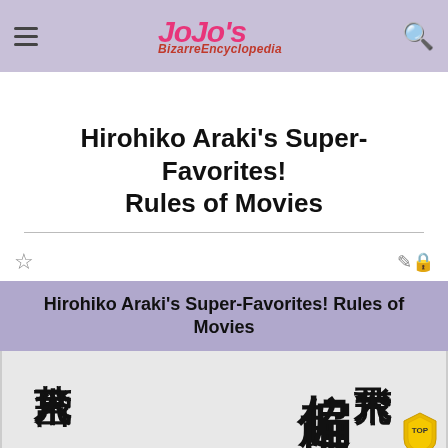JoJo's Bizarre Encyclopedia
Hirohiko Araki's Super-Favorites! Rules of Movies
Hirohiko Araki's Super-Favorites! Rules of Movies
[Figure (illustration): Japanese manga book covers with vertical kanji text reading 荒木飛呂彦 and 超偏愛！映画の掟 on gray background, with a yellow TOP mascot character in the bottom right corner]